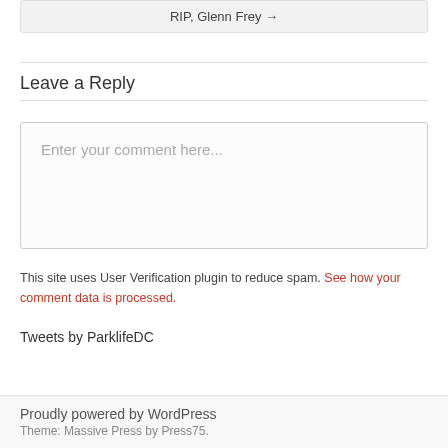RIP, Glenn Frey →
Leave a Reply
Enter your comment here...
This site uses User Verification plugin to reduce spam. See how your comment data is processed.
Tweets by ParklifeDC
Proudly powered by WordPress
Theme: Massive Press by Press75.